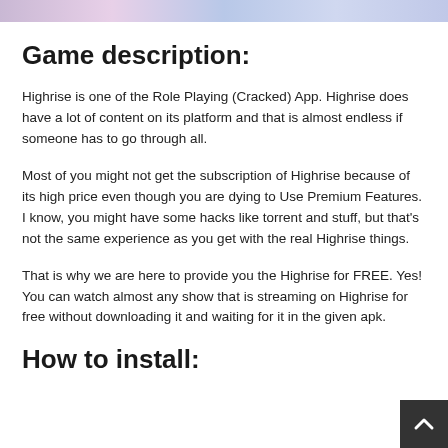[Figure (photo): Top banner image strip, partially visible, showing colorful game artwork]
Game description:
Highrise is one of the Role Playing (Cracked) App. Highrise does have a lot of content on its platform and that is almost endless if someone has to go through all.
Most of you might not get the subscription of Highrise because of its high price even though you are dying to Use Premium Features. I know, you might have some hacks like torrent and stuff, but that's not the same experience as you get with the real Highrise things.
That is why we are here to provide you the Highrise for FREE. Yes! You can watch almost any show that is streaming on Highrise for free without downloading it and waiting for it in the given apk.
How to install: